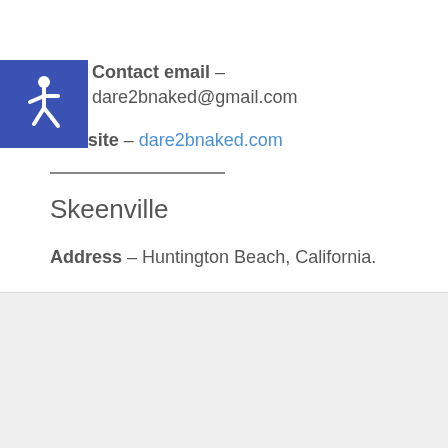[Figure (illustration): Blue square accessibility icon with white wheelchair symbol]
Contact email – dare2bnaked@gmail.com
Website – dare2bnaked.com
Skeenville
Address – Huntington Beach, California.